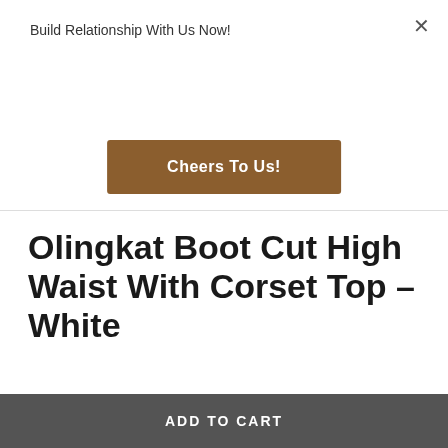Build Relationship With Us Now!
Cheers To Us!
Olingkat Boot Cut High Waist With Corset Top – White
SKU: MTIM04WHT0121
RM153.00   RM179.90
| MEASUREMENT | ON | UNDER | FRONT LENGTH | BACK LENGT… |
| --- | --- | --- | --- | --- |